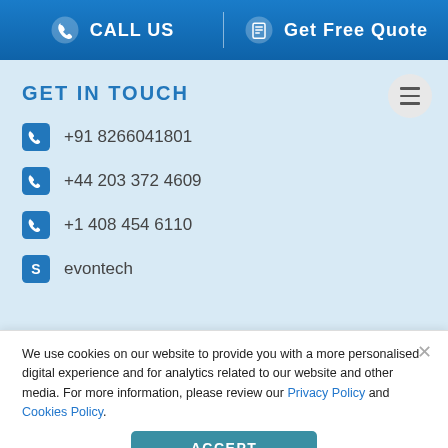CALL US | Get Free Quote
GET IN TOUCH
+91 8266041801
+44 203 372 4609
+1 408 454 6110
evontech
We use cookies on our website to provide you with a more personalised digital experience and for analytics related to our website and other media. For more information, please review our Privacy Policy and Cookies Policy.
ACCEPT